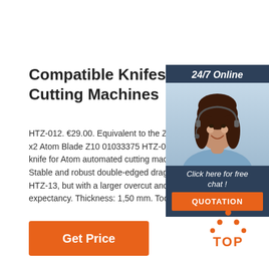Compatible Knifes For Atom Cutting Machines
HTZ-012. €29.00. Equivalent to the Z10 x2 0 x2 Atom Blade Z10 01033375 HTZ-012 Com knife for Atom automated cutting machine De Stable and robust double-edged drag blade. HTZ-13, but with a larger overcut and longer expectancy. Thickness: 1,50 mm. Tools: Dra
[Figure (other): Chat widget with 24/7 Online label, customer service representative photo, Click here for free chat text, and QUOTATION button]
Get Price
[Figure (logo): TOP logo with orange dots forming a triangle above the word TOP in orange]